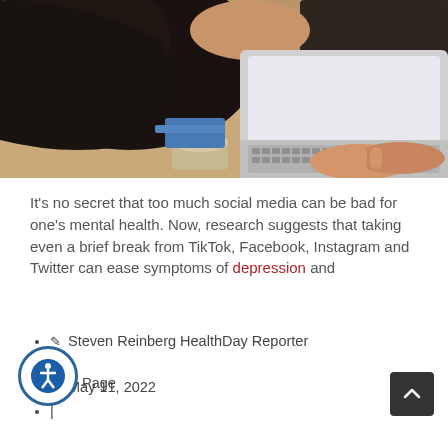[Figure (photo): Overhead view of a person with dark hair holding a coffee cup, typing on a laptop computer, viewed from above/behind]
It's no secret that too much social media can be bad for one's mental health. Now, research suggests that taking even a brief break from TikTok, Facebook, Instagram and Twitter can ease symptoms of depression and
✎ Steven Reinberg HealthDay Reporter
|
⊙ May 11, 2022
|
Page